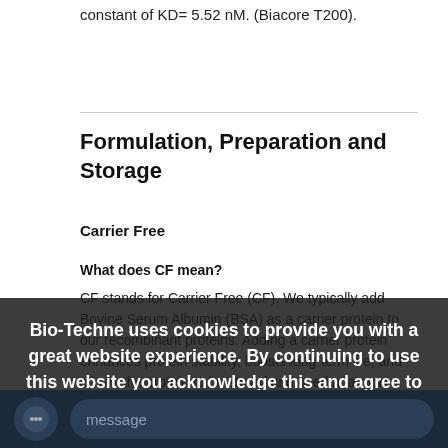constant of KD= 5.52 nM. (Biacore T200).
Formulation, Preparation and Storage
Carrier Free
What does CF mean?
CF stands for Carrier Free (CF). We typically add Bovine Serum Albumin (BSA) as a carrier protein to our recombinant proteins. Adding a carrier protein enhances protein stability, boosts long-term life, and allows the protein to be stored and used at a more dilute concentration. The carrier-free version does not contain BSA.
What formulation is...
In general,... protein with...
Bio-Techne uses cookies to provide you with a great website experience. By continuing to use this website you acknowledge this and agree to our cookie policy. Learn more.
I Agree